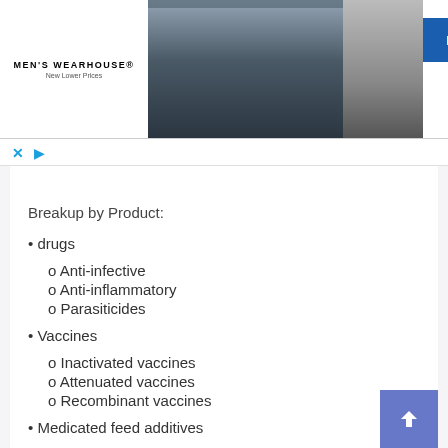[Figure (photo): Men's Wearhouse advertisement banner with logo, couple in formal wear, and RENT button]
Breakup by Product:
• drugs
o Anti-infective
o Anti-inflammatory
o Parasiticides
• Vaccines
o Inactivated vaccines
o Attenuated vaccines
o Recombinant vaccines
• Medicated feed additives
o Amino Acids